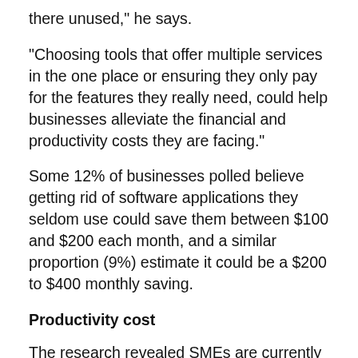there unused," he says.
"Choosing tools that offer multiple services in the one place or ensuring they only pay for the features they really need, could help businesses alleviate the financial and productivity costs they are facing."
Some 12% of businesses polled believe getting rid of software applications they seldom use could save them between $100 and $200 each month, and a similar proportion (9%) estimate it could be a $200 to $400 monthly saving.
Productivity cost
The research revealed SMEs are currently wasting the equivalent of one working day each week (7 hours) on average carrying out tasks caused by a lack of integration between their digital tools, while 9 in 10 (91%) businesses are wasting valuable time on manual tasks or having to duplicate jobs, such as